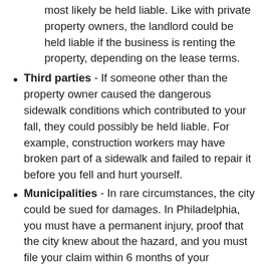most likely be held liable. Like with private property owners, the landlord could be held liable if the business is renting the property, depending on the lease terms.
Third parties - If someone other than the property owner caused the dangerous sidewalk conditions which contributed to your fall, they could possibly be held liable. For example, construction workers may have broken part of a sidewalk and failed to repair it before you fell and hurt yourself.
Municipalities - In rare circumstances, the city could be sued for damages. In Philadelphia, you must have a permanent injury, proof that the city knew about the hazard, and you must file your claim within 6 months of your